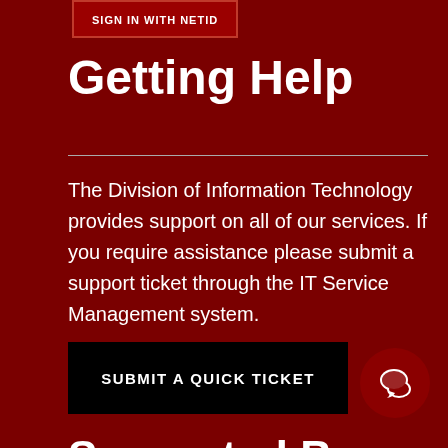SIGN IN WITH NETID
Getting Help
The Division of Information Technology provides support on all of our services. If you require assistance please submit a support ticket through the IT Service Management system.
SUBMIT A QUICK TICKET
Supported By